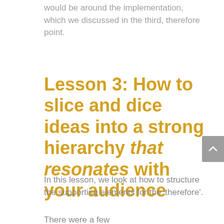would be around the implementation, which we discussed in the third, therefore point.
Lesson 3: How to slice and dice ideas into a strong hierarchy that resonates with your audience
In this lesson, we look at how to structure the supporting elements for the 'therefore'.
There were a few